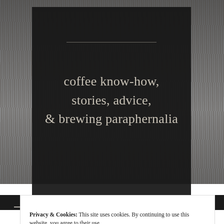[Figure (screenshot): Website header screenshot showing a dark overlay box over a wood-texture background with the tagline 'coffee know-how, stories, advice, & brewing paraphernalia', a navigation bar with hamburger menu and search icon, a cookie consent banner, and partially visible italic blue text at bottom.]
coffee know-how, stories, advice, & brewing paraphernalia
Privacy & Cookies: This site uses cookies. By continuing to use this website, you agree to their use.
To find out more, including how to control cookies, see here: Cookie Policy
Close and accept